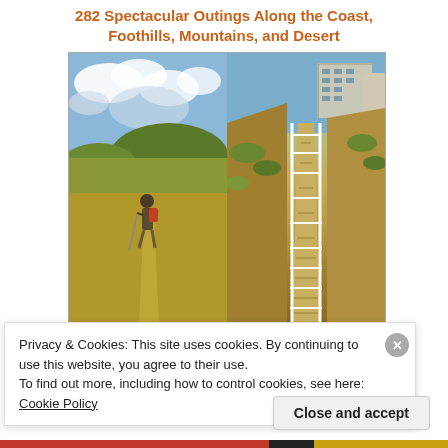282 Spectacular Outings Along the Coast, Foothills, Mountains, and Desert
[Figure (photo): Two side-by-side outdoor photographs. Left: a hiker with backpack and trekking pole walking through a golden grassland meadow with hills and dramatic cloudy sky. Right: a long wooden boardwalk/bridge with white railings leading through a hillside with shrubs and a building visible in the background.]
Privacy & Cookies: This site uses cookies. By continuing to use this website, you agree to their use.
To find out more, including how to control cookies, see here: Cookie Policy
Close and accept